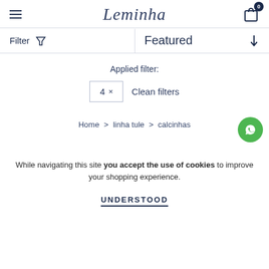≡  Leminha  🛒 0
Filter  ▼  Featured  ↓
Applied filter:
4 × Clean filters
Home > linha tule > calcinhas
While navigating this site you accept the use of cookies to improve your shopping experience.
UNDERSTOOD